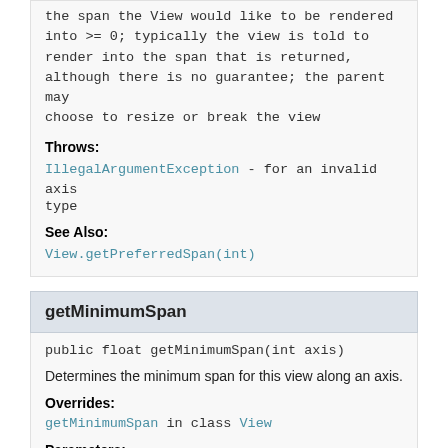the span the View would like to be rendered into >= 0; typically the view is told to render into the span that is returned, although there is no guarantee; the parent may choose to resize or break the view
Throws:
IllegalArgumentException - for an invalid axis type
See Also:
View.getPreferredSpan(int)
getMinimumSpan
public float getMinimumSpan(int axis)
Determines the minimum span for this view along an axis.
Overrides:
getMinimumSpan in class View
Parameters: